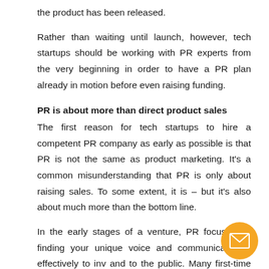the product has been released.
Rather than waiting until launch, however, tech startups should be working with PR experts from the very beginning in order to have a PR plan already in motion before even raising funding.
PR is about more than direct product sales
The first reason for tech startups to hire a competent PR company as early as possible is that PR is not the same as product marketing. It's a common misunderstanding that PR is only about raising sales. To some extent, it is – but it's also about much more than the bottom line.
In the early stages of a venture, PR focuses on finding your unique voice and communicating it effectively to inv and to the public. Many first-time entrepreneurs struggle to